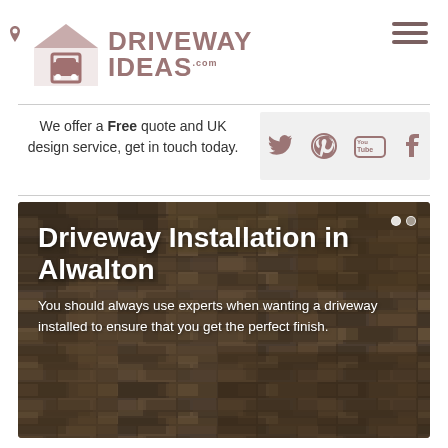[Figure (logo): Driveway Ideas logo with house/car icon and text]
We offer a Free quote and UK design service, get in touch today.
[Figure (infographic): Social media icons: Twitter, Pinterest, YouTube, Tumblr]
Driveway Installation in Alwalton
You should always use experts when wanting a driveway installed to ensure that you get the perfect finish.